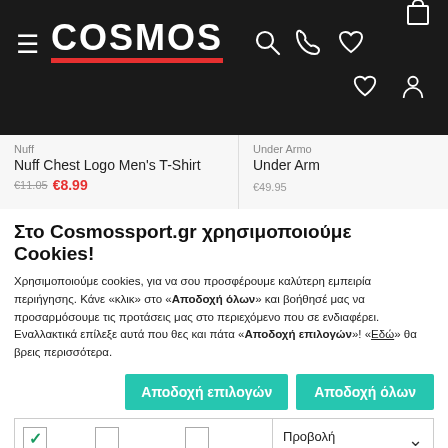COSMOS
[Figure (screenshot): Product carousel showing Nuff Chest Logo Men's T-Shirt and partial Under Armour product]
Στο Cosmossport.gr χρησιμοποιούμε Cookies!
Χρησιμοποιούμε cookies, για να σου προσφέρουμε καλύτερη εμπειρία περιήγησης. Κάνε «κλικ» στο «Αποδοχή όλων» και βοήθησέ μας να προσαρμόσουμε τις προτάσεις μας στο περιεχόμενο που σε ενδιαφέρει. Εναλλακτικά επίλεξε αυτά που θες και πάτα «Αποδοχή επιλογών»! «Εδώ» θα βρεις περισσότερα.
Αποδοχή επιλογών  Αποδοχή όλων
| Αναγκαία | Προτιμήσεις | Στατιστικά | Προβολή λεπτομερειών |
| --- | --- | --- | --- |
| ✓ checked | unchecked | unchecked |  |
| unchecked Εμπορικής προώθησης |  |  |  |